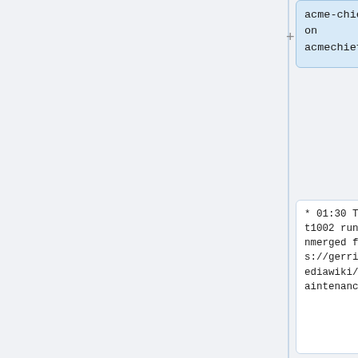acme-chief
on
acmechief1001
* 01:30 TimStarling: on mwmaint1002 running fixT260485.php unmerged fixup script from https://gerrit.wikimedia.org/r/c/mediawiki/extensions/WikimediaMaintenance/+/640348
* 01:30 TimStarling: on mwmaint1002 running fixT260485.php unmerged fixup script from https://gerrit.wikimedia.org/r/c/mediawiki/extensions/WikimediaMaintenance/+/640348